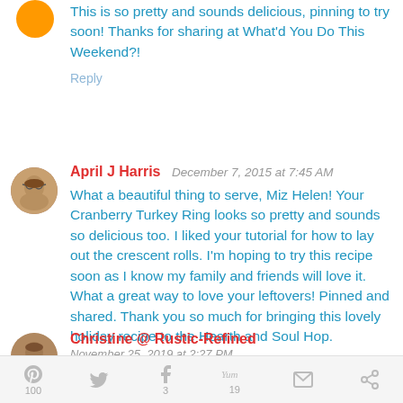This is so pretty and sounds delicious, pinning to try soon! Thanks for sharing at What'd You Do This Weekend?!
Reply
April J Harris  December 7, 2015 at 7:45 AM
What a beautiful thing to serve, Miz Helen! Your Cranberry Turkey Ring looks so pretty and sounds so delicious too. I liked your tutorial for how to lay out the crescent rolls. I'm hoping to try this recipe soon as I know my family and friends will love it. What a great way to love your leftovers! Pinned and shared. Thank you so much for bringing this lovely holiday recipe to the Hearth and Soul Hop.
Reply
Christine @ Rustic-Refined
November 25, 2019 at 2:27 PM
[Figure (other): Social share bar with icons for Pinterest (100), Twitter, Facebook (3), Yummly (19), Email, and another share option]